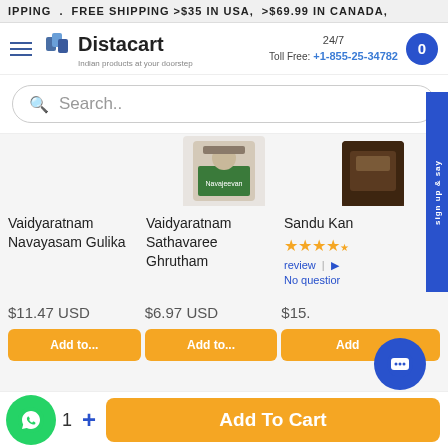IPPING . FREE SHIPPING >$35 IN USA, >$69.99 IN CANADA,
[Figure (logo): Distacart logo with tagline 'Indian products at your doorstep']
24/7 Toll Free: +1-855-25-34782
Search..
[Figure (photo): Product image center - Vaidyaratnam Sathavaree Ghrutham jar with green label]
[Figure (photo): Product image right - dark brown jar, Sandu Kan product]
Vaidyaratnam Navayasam Gulika
Vaidyaratnam Sathavaree Ghrutham
Sandu Kan
★★★★
review | No questior
$11.47 USD
$6.97 USD
$15.
1
Add To Cart